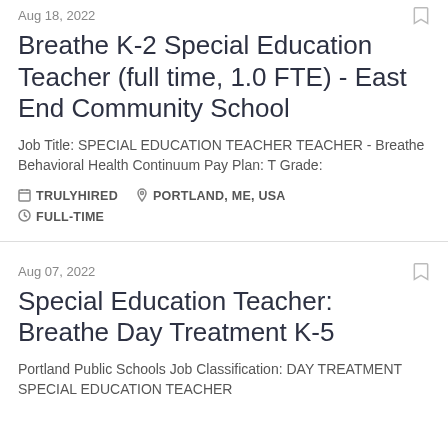Aug 18, 2022
Breathe K-2 Special Education Teacher (full time, 1.0 FTE) - East End Community School
Job Title: SPECIAL EDUCATION TEACHER TEACHER - Breathe Behavioral Health Continuum Pay Plan: T Grade:
TRULYHIRED   PORTLAND, ME, USA   FULL-TIME
Aug 07, 2022
Special Education Teacher: Breathe Day Treatment K-5
Portland Public Schools Job Classification: DAY TREATMENT SPECIAL EDUCATION TEACHER